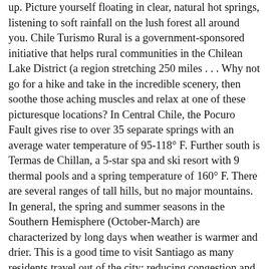up. Picture yourself floating in clear, natural hot springs, listening to soft rainfall on the lush forest all around you. Chile Turismo Rural is a government-sponsored initiative that helps rural communities in the Chilean Lake District (a region stretching 250 miles . . . Why not go for a hike and take in the incredible scenery, then soothe those aching muscles and relax at one of these picturesque locations? In Central Chile, the Pocuro Fault gives rise to over 35 separate springs with an average water temperature of 95-118° F. Further south is Termas de Chillan, a 5-star spa and ski resort with 9 thermal pools and a spring temperature of 160° F. There are several ranges of tall hills, but no major mountains. In general, the spring and summer seasons in the Southern Hemisphere (October-March) are characterized by long days when weather is warmer and drier. This is a good time to visit Santiago as many residents travel out of the city; reducing congestion and hotel prices. Termas Río Blanco, Pucón, Araucania, Chile, #termasrioblanco #despreocupada #feliz #naturaleza #tranqulidad , A post shared by Que no te lo cuenten vivelo (@amsterdaml) on Sep 16, 2017 at 9:50pm PDT. Clothing must be appropriate, adaptable outdoor gear. Many visitors flock to southern Chile in spring to view the glaciers and tundra. The climatic conditions in autumn and spring in Chile are almost